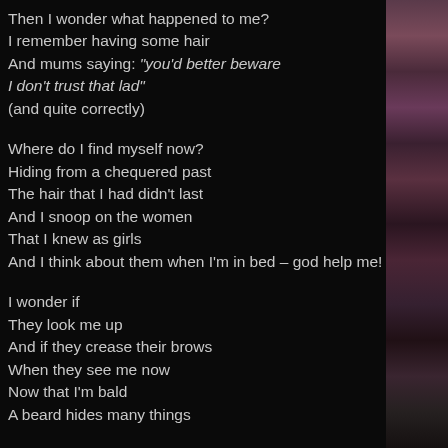Then I wonder what happened to me?
I remember having some hair
And mums saying: "you'd better beware
I don't trust that lad"
(and quite correctly)

Where do I find myself now?
Hiding from a chequered past
The hair that I had didn't last
And I snoop on the women
That I knew as girls
And I think about them when I'm in bed – god help me!

I wonder if
They look me up
And if they crease their brows
When they see me now
Now that I'm bald
A beard hides many things
[line cut off]